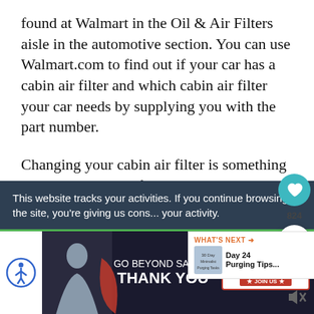found at Walmart in the Oil & Air Filters aisle in the automotive section. You can use Walmart.com to find out if your car has a cabin air filter and which cabin air filter your car needs by supplying you with the part number.
Changing your cabin air filter is something you can do yourself. FRAMFreshBreeze.com has installation guides that include both written an
This website tracks your activities. If you continue browsing the site, you're giving us cons... your activity.
[Figure (other): Social action buttons: heart/like button (teal circle, 824 count) and share button (white circle with share icon)]
[Figure (infographic): What's Next widget showing thumbnail and text 'Day 24 Purging Tips...']
[Figure (infographic): Advertisement banner: accessibility icon button, 'GO BEYOND SAYING THANK YOU' Operation Gratitude ad with JOIN US button, and mute icon]